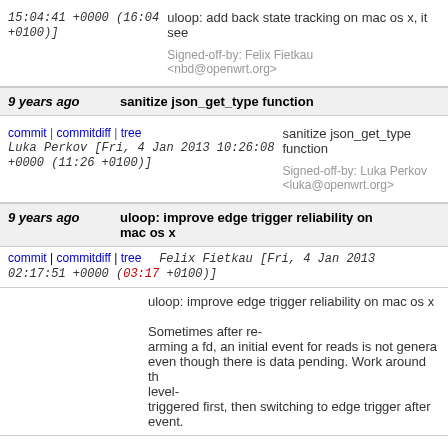15:04:41 +0000 (16:04 +0100)]
uloop: add back state tracking on mac os x, it see
Signed-off-by: Felix Fietkau <nbd@openwrt.org>
9 years ago   sanitize json_get_type function
commit | commitdiff | tree   Luka Perkov [Fri, 4 Jan 2013 10:26:08 +0000 (11:26 +0100)]
sanitize json_get_type function

Signed-off-by: Luka Perkov <luka@openwrt.org>
9 years ago   uloop: improve edge trigger reliability on mac os x
commit | commitdiff | tree   Felix Fietkau [Fri, 4 Jan 2013 02:17:51 +0000 (03:17 +0100)]
uloop: improve edge trigger reliability on mac os x

Sometimes after re-arming a fd, an initial event for reads is not genera even though there is data pending. Work around thi level-triggered first, then switching to edge trigger after event.